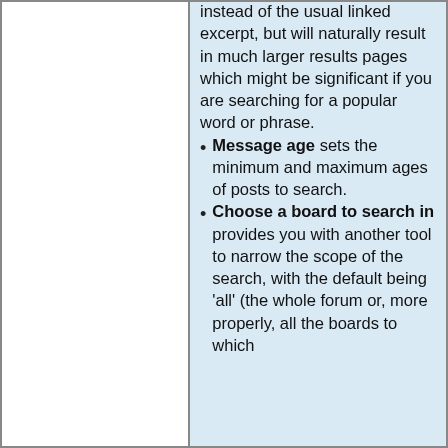instead of the usual linked excerpt, but will naturally result in much larger results pages which might be significant if you are searching for a popular word or phrase.
Message age sets the minimum and maximum ages of posts to search.
Choose a board to search in provides you with another tool to narrow the scope of the search, with the default being 'all' (the whole forum or, more properly, all the boards to which